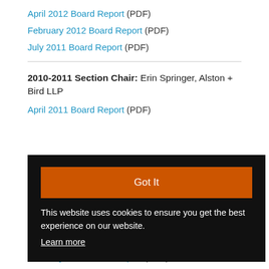April 2012 Board Report (PDF)
February 2012 Board Report (PDF)
July 2011 Board Report (PDF)
2010-2011 Section Chair: Erin Springer, Alston + Bird LLP
April 2011 Board Report (PDF)
[Figure (screenshot): Cookie consent banner with black background, orange 'Got It' button, text 'This website uses cookies to ensure you get the best experience on our website.' and 'Learn more' link]
February 2010 Board Report (PDF)